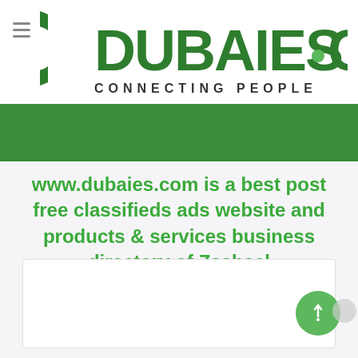[Figure (logo): DUBAIES.COM logo with green C-shaped icon and tagline CONNECTING PEOPLE]
www.dubaies.com is a best post free classifieds ads website and products & services business directory of Zaabeel
[Figure (other): Empty white card at bottom of page with a green floating action button (rocket/arrow icon)]